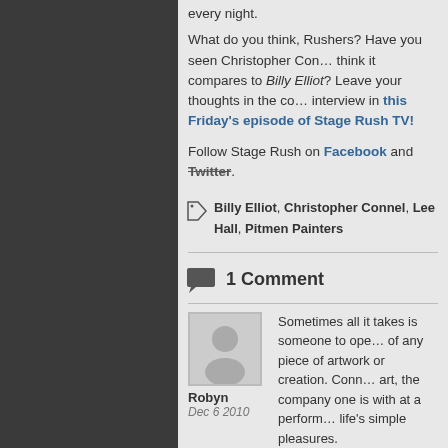every night.
What do you think, Rushers? Have you seen Christopher Con… think it compares to Billy Elliot? Leave your thoughts in the co… interview in this Friday's episode of Stage Rush TV!
Follow Stage Rush on Facebook and Twitter.
Billy Elliot, Christopher Connel, Lee Hall, Pitmen Painters
1 Comment
Robyn
Dec 6 2010
Sometimes all it takes is someone to ope… of any piece of artwork or creation. Conn… art, the company one is with at a perform… life's simple pleasures.